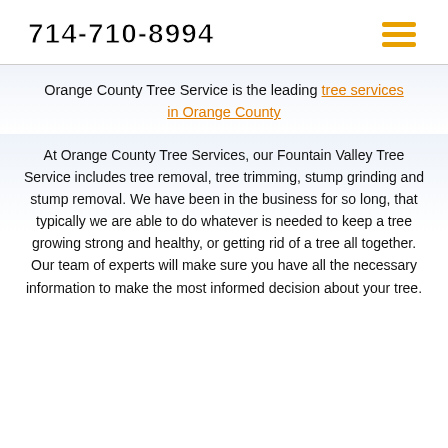714-710-8994
Orange County Tree Service is the leading tree services in Orange County
At Orange County Tree Services, our Fountain Valley Tree Service includes tree removal, tree trimming, stump grinding and stump removal. We have been in the business for so long, that typically we are able to do whatever is needed to keep a tree growing strong and healthy, or getting rid of a tree all together. Our team of experts will make sure you have all the necessary information to make the most informed decision about your tree.